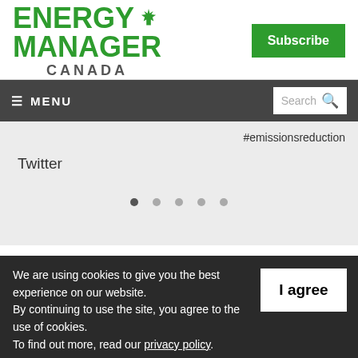ENERGY MANAGER CANADA
Subscribe
≡ MENU | Search
#emissionsreduction
Twitter
We are using cookies to give you the best experience on our website. By continuing to use the site, you agree to the use of cookies. To find out more, read our privacy policy.
I agree